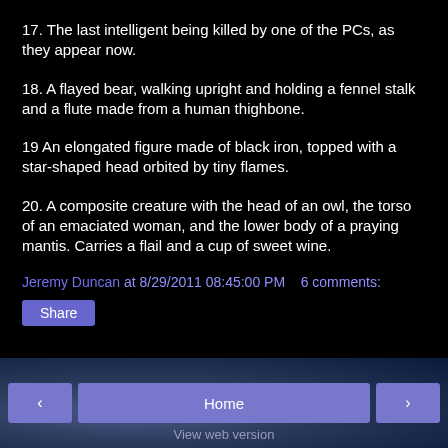17. The last intelligent being killed by one of the PCs, as they appear now.
18. A flayed bear, walking upright and holding a fennel stalk and a flute made from a human thighbone.
19 An elongated figure made of black iron, topped with a star-shaped head orbited by tiny flames.
20. A composite creature with the head of an owl, the torso of an emaciated woman, and the lower body of a praying mantis. Carries a flail and a cup of sweet wine.
Jeremy Duncan at 8/29/2011 08:45:00 PM    6 comments:
Share
‹   Home   ›   View web version